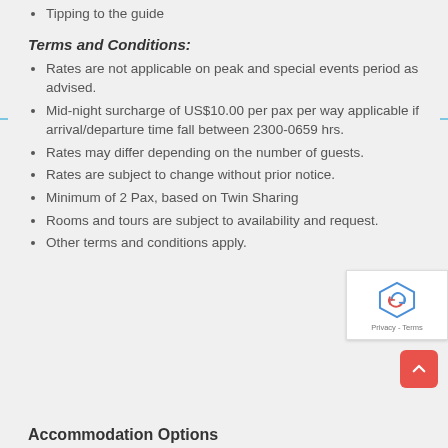Tipping to the guide
Terms and Conditions:
Rates are not applicable on peak and special events period as advised.
Mid-night surcharge of US$10.00 per pax per way applicable if arrival/departure time fall between 2300-0659 hrs.
Rates may differ depending on the number of guests.
Rates are subject to change without prior notice.
Minimum of 2 Pax, based on Twin Sharing
Rooms and tours are subject to availability and request.
Other terms and conditions apply.
Accommodation Options